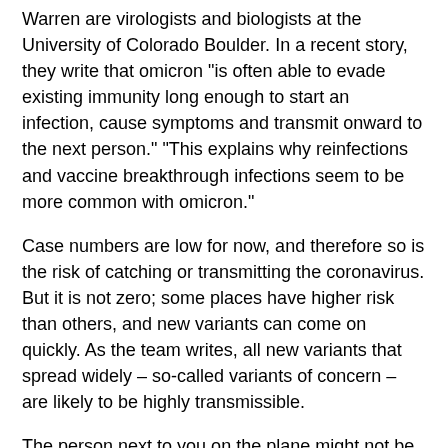Warren are virologists and biologists at the University of Colorado Boulder. In a recent story, they write that omicron "is often able to evade existing immunity long enough to start an infection, cause symptoms and transmit onward to the next person." "This explains why reinfections and vaccine breakthrough infections seem to be more common with omicron."
Case numbers are low for now, and therefore so is the risk of catching or transmitting the coronavirus. But it is not zero; some places have higher risk than others, and new variants can come on quickly. As the team writes, all new variants that spread widely – so-called variants of concern – are likely to be highly transmissible.
The person next to you on the plane might not be wearing a mask and, as it stands, that is their choice to make. If you want to lower your own chances of catching or spreading the coronavirus, there are still a number of